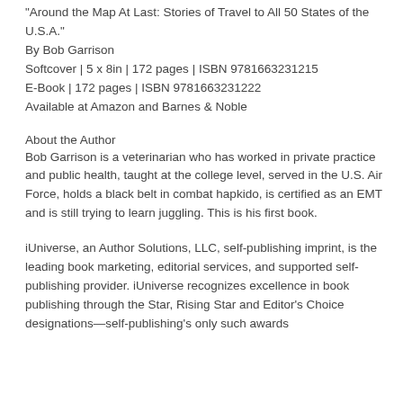“Around the Map At Last: Stories of Travel to All 50 States of the U.S.A.”
By Bob Garrison
Softcover | 5 x 8in | 172 pages | ISBN 9781663231215
E-Book | 172 pages | ISBN 9781663231222
Available at Amazon and Barnes & Noble
About the Author
Bob Garrison is a veterinarian who has worked in private practice and public health, taught at the college level, served in the U.S. Air Force, holds a black belt in combat hapkido, is certified as an EMT and is still trying to learn juggling. This is his first book.
iUniverse, an Author Solutions, LLC, self-publishing imprint, is the leading book marketing, editorial services, and supported self-publishing provider. iUniverse recognizes excellence in book publishing through the Star, Rising Star and Editor’s Choice designations—self-publishing’s only such awards